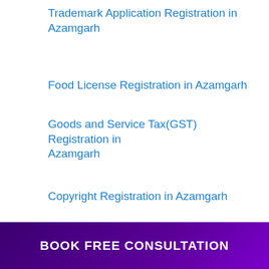Trademark Application Registration in Azamgarh
Food License Registration in Azamgarh
Goods and Service Tax(GST) Registration in Azamgarh
Copyright Registration in Azamgarh
UDYAM Certificate/MSME Registration in Azamgarh
BOOK FREE CONSULTATION